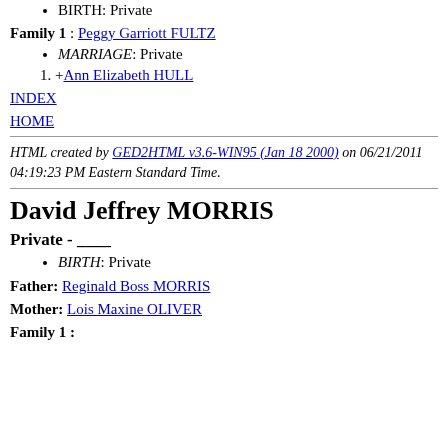BIRTH: Private
Family 1 : Peggy Garriott FULTZ
MARRIAGE: Private
1. +Ann Elizabeth HULL
INDEX
HOME
HTML created by GED2HTML v3.6-WIN95 (Jan 18 2000) on 06/21/2011 04:19:23 PM Eastern Standard Time.
David Jeffrey MORRIS
Private - ____
BIRTH: Private
Father: Reginald Boss MORRIS
Mother: Lois Maxine OLIVER
Family 1 :